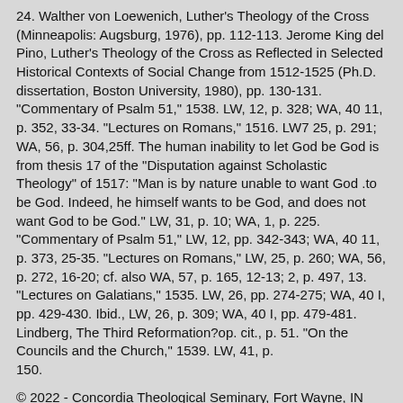24. Walther von Loewenich, Luther's Theology of the Cross (Minneapolis: Augsburg, 1976), pp. 112-113. Jerome King del Pino, Luther's Theology of the Cross as Reflected in Selected Historical Contexts of Social Change from 1512-1525 (Ph.D. dissertation, Boston University, 1980), pp. 130-131. "Commentary of Psalm 51," 1538. LW, 12, p. 328; WA, 40 11, p. 352, 33-34. "Lectures on Romans," 1516. LW7 25, p. 291; WA, 56, p. 304,25ff. The human inability to let God be God is from thesis 17 of the "Disputation against Scholastic Theology" of 1517: "Man is by nature unable to want God .to be God. Indeed, he himself wants to be God, and does not want God to be God." LW, 31, p. 10; WA, 1, p. 225. "Commentary of Psalm 51," LW, 12, pp. 342-343; WA, 40 11, p. 373, 25-35. "Lectures on Romans," LW, 25, p. 260; WA, 56, p. 272, 16-20; cf. also WA, 57, p. 165, 12-13; 2, p. 497, 13. "Lectures on Galatians," 1535. LW, 26, pp. 274-275; WA, 40 I, pp. 429-430. Ibid., LW, 26, p. 309; WA, 40 I, pp. 479-481. Lindberg, The Third Reformation?op. cit., p. 51. "On the Councils and the Church," 1539. LW, 41, p. 150.
© 2022 - Concordia Theological Seminary, Fort Wayne, IN